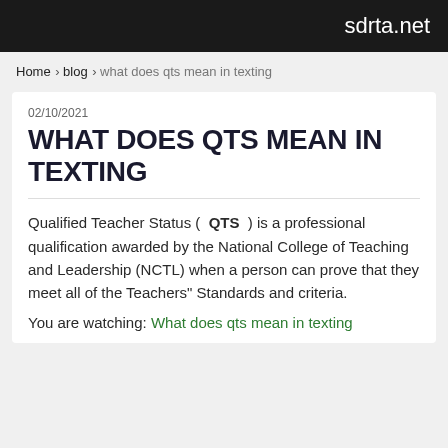sdrta.net
Home › blog › what does qts mean in texting
02/10/2021
WHAT DOES QTS MEAN IN TEXTING
Qualified Teacher Status ( QTS ) is a professional qualification awarded by the National College of Teaching and Leadership (NCTL) when a person can prove that they meet all of the Teachers" Standards and criteria.
You are watching: What does qts mean in texting